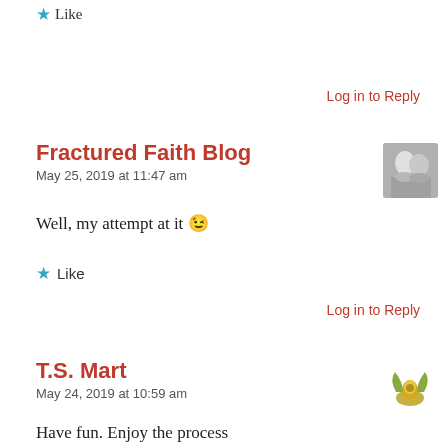★ Like
Log in to Reply
Fractured Faith Blog
May 25, 2019 at 11:47 am
Well, my attempt at it 😉
[Figure (photo): Black and white photo of a couple]
★ Like
Log in to Reply
T.S. Mart
May 24, 2019 at 10:59 am
[Figure (illustration): Small decorative winged emblem/logo icon]
Have fun. Enjoy the process